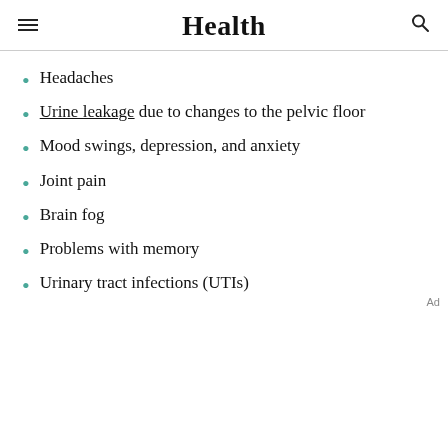Health
Headaches
Urine leakage due to changes to the pelvic floor
Mood swings, depression, and anxiety
Joint pain
Brain fog
Problems with memory
Urinary tract infections (UTIs)
Ad